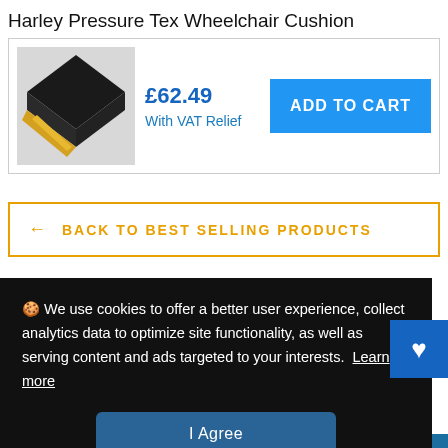Harley Pressure Tex Wheelchair Cushion
[Figure (photo): Photo of a black foam wheelchair cushion with yellow memory foam visible at one corner]
£62.49
With VAT Relief
ADD TO CART
← BACK TO BEST SELLING PRODUCTS
Based On What You've
🍪 We use cookies to offer a better user experience, collect analytics data to optimize site functionality, as well as serving content and ads targeted to your interests.  Learn more
I Agree